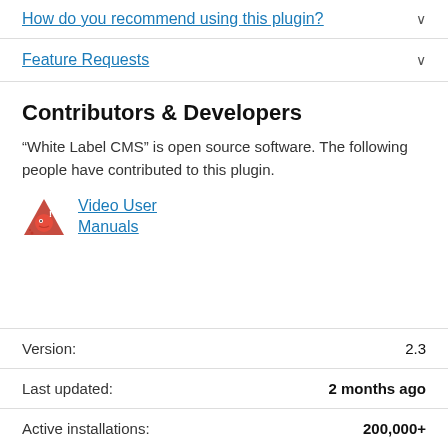How do you recommend using this plugin?
Feature Requests
Contributors & Developers
“White Label CMS” is open source software. The following people have contributed to this plugin.
Video User Manuals
Version: 2.3
Last updated: 2 months ago
Active installations: 200,000+